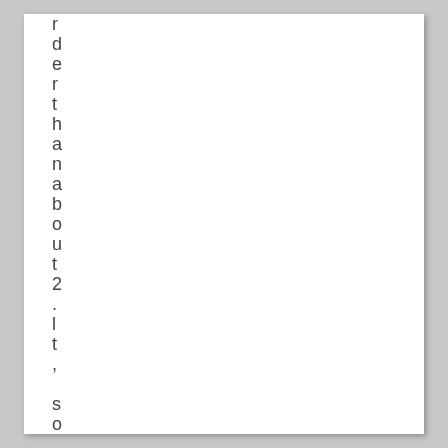r d e r t h a n a b o u t 2 . l t ,   s o n e o f m